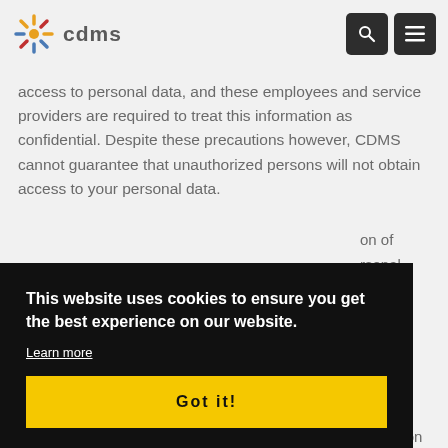[Figure (logo): CDMS logo with starburst icon and text 'cdms']
access to personal data, and these employees and service providers are required to treat this information as confidential. Despite these precautions however, CDMS cannot guarantee that unauthorized persons will not obtain access to your personal data.
This website uses cookies to ensure you get the best experience on our website. Learn more Got it!
reasonable attempts to delete all instances of the information in